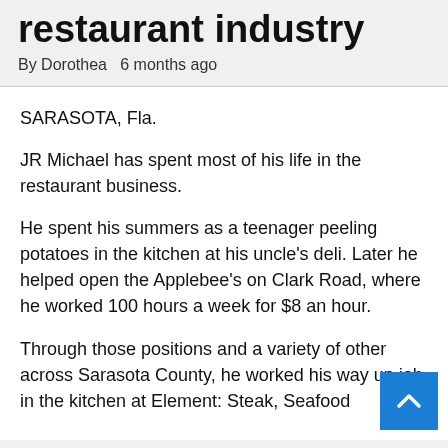restaurant industry
By Dorothea   6 months ago
SARASOTA, Fla.
JR Michael has spent most of his life in the restaurant business.
He spent his summers as a teenager peeling potatoes in the kitchen at his uncle's deli. Later he helped open the Applebee's on Clark Road, where he worked 100 hours a week for $8 an hour.
Through those positions and a variety of other across Sarasota County, he worked his way up job in the kitchen at Element: Steak, Seafood